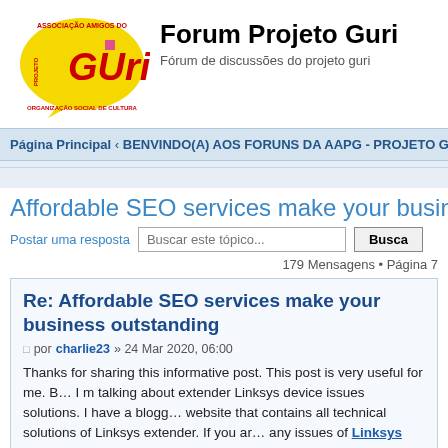[Figure (logo): Forum Projeto Guri logo — yellow speech bubble with 'GUri' in red, 'ASSOCIAÇÃO AMIGOS DO' at top, 'PROJETO' on left side, 'ORGANIZAÇÃO SOCIAL DE CULTURA' at bottom]
Forum Projeto Guri
Fórum de discussões do projeto guri
Página Principal ‹ BENVINDO(A) AOS FORUNS DA AAPG - PROJETO GURI
Affordable SEO services make your business ou…
Postar uma resposta
179 Mensagens • Página 7
Re: Affordable SEO services make your business outstanding
por charlie23 » 24 Mar 2020, 06:00
Thanks for sharing this informative post. This post is very useful for me. B… I m talking about extender Linksys device issues solutions. I have a blogg… website that contains all technical solutions of Linksys extender. If you ar… any issues of Linksys Extender Setup visit our blog to know the best so…